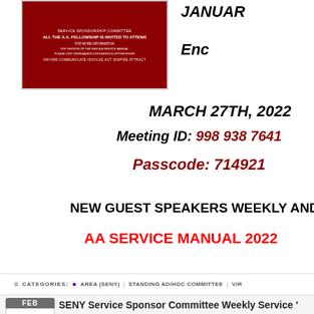[Figure (photo): Red promotional flyer for AA Service Sponsor Committee with white text on dark red background]
JANUAR
End
MARCH 27TH, 2022
Meeting ID: 998 938 7641
Passcode: 714921
NEW GUEST SPEAKERS WEEKLY AND OF
AA SERVICE MANUAL 2022
CATEGORIES: AREA (SENY) STANDING AD/HOC COMMITTEE VIR
SENY Service Sponsor Committee Weekly Service '
Feb 20 @ 4:00 pm – May 8 @ 6:00 pm
[Figure (photo): Red and orange promotional image for The AA Service Manual]
THE AA SERV MAN